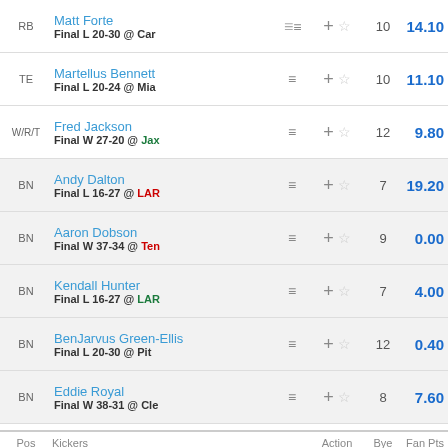| Pos | Players | Action | Bye | Fan Pts |
| --- | --- | --- | --- | --- |
| RB | Matt Forte / Final L 20-30 @ Car | +☆ | 10 | 14.10 |
| TE | Martellus Bennett / Final L 20-24 @ Mia | +☆ | 10 | 11.10 |
| W/R/T | Fred Jackson / Final W 27-20 @ Jax | +☆ | 12 | 9.80 |
| BN | Andy Dalton / Final L 16-27 @ LAR | +☆ | 7 | 19.20 |
| BN | Aaron Dobson / Final W 37-34 @ Ten | +☆ | 9 | 0.00 |
| BN | Kendall Hunter / Final L 16-27 @ LAR | +☆ | 7 | 4.00 |
| BN | BenJarvus Green-Ellis / Final L 20-30 @ Pit | +☆ | 12 | 0.40 |
| BN | Eddie Royal / Final W 38-31 @ Cle | +☆ | 8 | 7.60 |
| Pos | Kickers | Action | Bye | Fan Pts |
| --- | --- | --- | --- | --- |
| K | Matt Prater / Final W 37-34 @ Ten | +☆ | 9 | 9.00 |